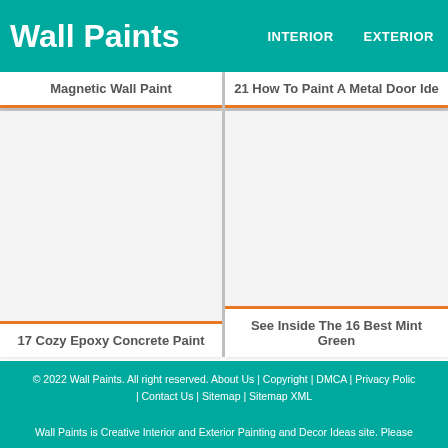Wall Paints
INTERIOR   EXTERIOR
Magnetic Wall Paint
21 How To Paint A Metal Door Ide
[Figure (other): Blank white image placeholder for left card]
[Figure (other): Blank white image placeholder for right card]
17 Cozy Epoxy Concrete Paint
See Inside The 16 Best Mint Green
© 2022 Wall Paints. All right reserved. About Us | Copyright | DMCA | Privacy Polic | Contact Us | Sitemap | Sitemap XML
Wall Paints is Creative Interior and Exterior Painting and Decor Ideas site. Please